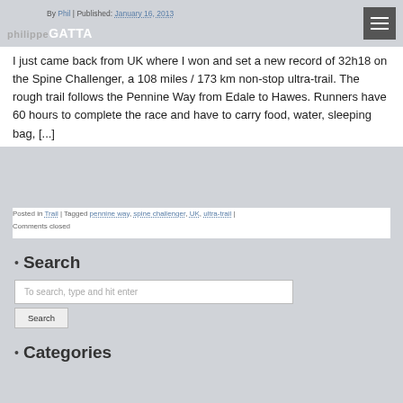philippeGATTA | By Phil | Published: January 16, 2013
I just came back from UK where I won and set a new record of 32h18 on the Spine Challenger, a 108 miles / 173 km non-stop ultra-trail. The rough trail follows the Pennine Way from Edale to Hawes. Runners have 60 hours to complete the race and have to carry food, water, sleeping bag, [...]
Posted in Trail | Tagged pennine way, spine challenger, UK, ultra-trail | Comments closed
Search
To search, type and hit enter
Categories